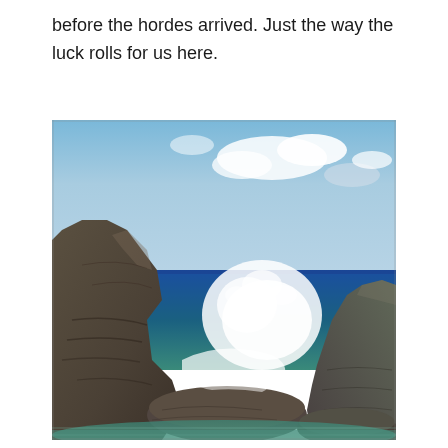before the hordes arrived. Just the way the luck rolls for us here.
[Figure (photo): Coastal scene with large dark rocks in the foreground, ocean waves crashing between the rocks, and a blue sky with white clouds in the background.]